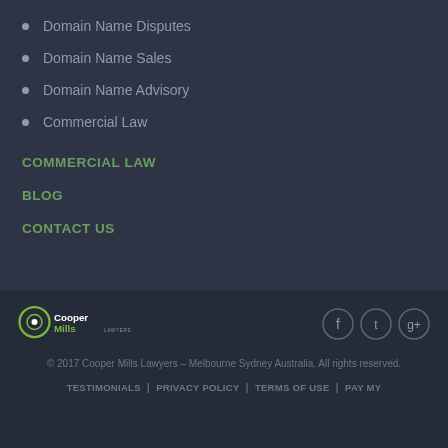Domain Name Disputes
Domain Name Sales
Domain Name Advisory
Commercial Law
COMMERCIAL LAW
BLOG
CONTACT US
[Figure (logo): Cooper Mills Lawyers logo with circular icon]
[Figure (other): Social media icons: Facebook, Twitter, Google+]
© 2017 Cooper Mills Lawyers – Melbourne Sydney Australia. All rights reserved.
TESTIMONIALS | PRIVACY POLICY | TERMS OF USE | PAY MY